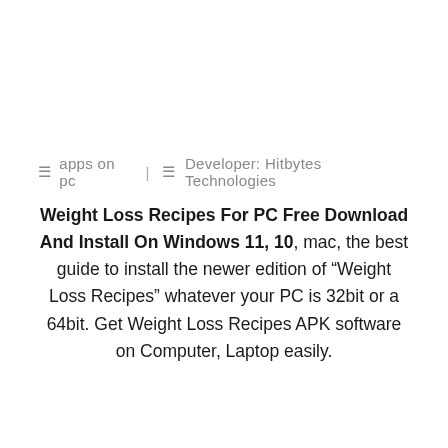☰  apps on pc  |  ☰   Developer: Hitbytes Technologies
Weight Loss Recipes For PC Free Download And Install On Windows 11, 10, mac, the best guide to install the newer edition of "Weight Loss Recipes" whatever your PC is 32bit or a 64bit. Get Weight Loss Recipes APK software on Computer, Laptop easily.